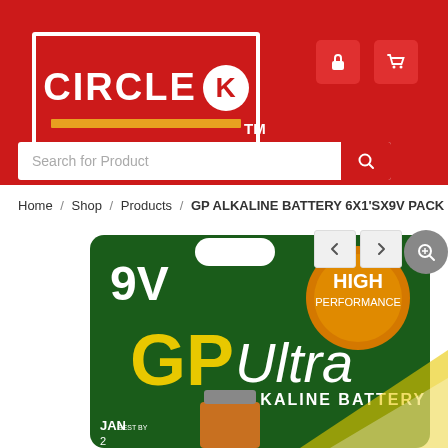[Figure (logo): Circle K logo: white bordered red box with CIRCLE text, white circle containing red K, and orange/yellow stripe below, with TM mark]
Search for Product
Home / Shop / Products / GP ALKALINE BATTERY 6X1'SX9V PACK
[Figure (photo): GP Ultra 9V Alkaline Battery blister pack on green packaging with HIGH PERFORMANCE badge in orange, showing the battery labeled JAN 2x]